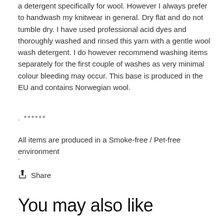a detergent specifically for wool. However I always prefer to handwash my knitwear in general. Dry flat and do not tumble dry. I have used professional acid dyes and thoroughly washed and rinsed this yarn with a gentle wool wash detergent. I do however recommend washing items separately for the first couple of washes as very minimal colour bleeding may occur. This base is produced in the EU and contains Norwegian wool.
. ******
All items are produced in a Smoke-free / Pet-free environment
.
Share
You may also like